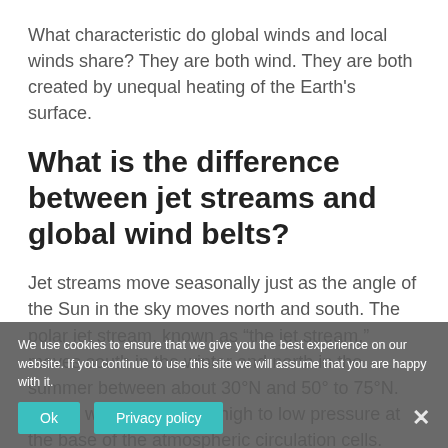What characteristic do global winds and local winds share? They are both wind. They are both created by unequal heating of the Earth's surface.
What is the difference between jet streams and global wind belts?
Jet streams move seasonally just as the angle of the Sun in the sky moves north and south. The polar jet stream, known as “the jet stream,” moves south in the winter and north in the summer between about 30°N and 50° to 75°N. Global winds blow from high to low pressure at the base of the atmospheric circulation cells.
What are the main causes of global winds?
We use cookies to ensure that we give you the best experience on our website. If you continue to use this site we will assume that you are happy with it.